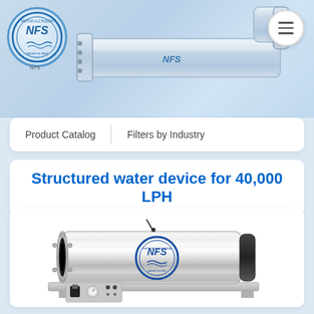[Figure (photo): NFS company logo — circular badge with NFS letters in blue italic on light blue background with decorative ring. A structured water device pipe fitting (grey/white Y-shaped or elbow pipe with NFS logo) is shown in the top banner area. Hamburger menu button circle on top right.]
Product Catalog | Filters by Industry
Structured water device for 40,000 LPH
[Figure (photo): Large stainless steel structured water device / UV water treatment system for 40,000 LPH. Horizontal cylindrical polished stainless steel tube with flanged inlet on left, NFS circular logo badge in center, black end cap on right, mounted on a metal base frame with a control panel (switch and gauge) at the bottom left.]